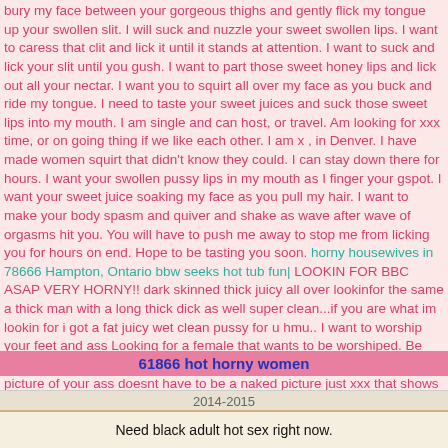bury my face between your gorgeous thighs and gently flick my tongue up your swollen slit. I will suck and nuzzle your sweet swollen lips. I want to caress that clit and lick it until it stands at attention. I want to suck and lick your slit until you gush. I want to part those sweet honey lips and lick out all your nectar. I want you to squirt all over my face as you buck and ride my tongue. I need to taste your sweet juices and suck those sweet lips into my mouth. I am single and can host, or travel. Am looking for xxx time, or on going thing if we like each other. I am x , in Denver. I have made women squirt that didn't know they could. I can stay down there for hours. I want your swollen pussy lips in my mouth as I finger your gspot. I want your sweet juice soaking my face as you pull my hair. I want to make your body spasm and quiver and shake as wave after wave of orgasms hit you. You will have to push me away to stop me from licking you for hours on end. Hope to be tasting you soon. horny housewives in 78666 Hampton, Ontario bbw seeks hot tub fun| LOOKIN FOR BBC ASAP VERY HORNY!! dark skinned thick juicy all over lookinfor the same a thick man with a long thick dick as well super clean...if you are what im lookin for i got a fat juicy wet clean pussy for u hmu.. I want to worship your feet and ass Looking for a female that wants to be worshiped. Be near centerville TN. Put "serve me" in the subject line and include a picture of your ass doesnt have to be a naked picture just xxx that shows off your ass. Best ass wins a devoted tongue. finding girls for sex Leavenworth will this work Fort Wayne Indiana a shot
61866 hot horny women
2014-2015
Need black adult hot sex right now.